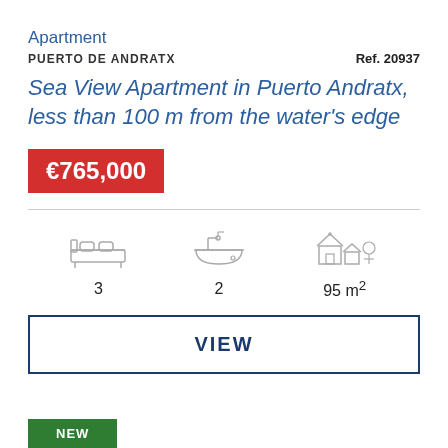Apartment
PUERTO DE ANDRATX
Ref. 20937
Sea View Apartment in Puerto Andratx, less than 100 m from the water's edge
€765,000
[Figure (infographic): Three property feature icons: bed icon with number 3, bathroom/bathtub icon with number 2, house/property icon with 95 m² area]
VIEW
NEW